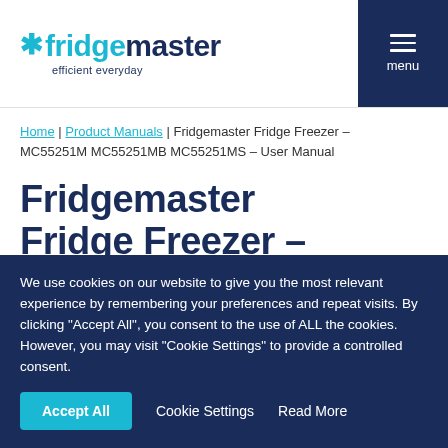fridgemaster efficient everyday | menu
Home | Product Manuals | Fridgemaster Fridge Freezer – MC55251M MC55251MB MC55251MS – User Manual
Fridgemaster Fridge Freezer –
We use cookies on our website to give you the most relevant experience by remembering your preferences and repeat visits. By clicking "Accept All", you consent to the use of ALL the cookies. However, you may visit "Cookie Settings" to provide a controlled consent.
Accept All | Cookie Settings | Read More